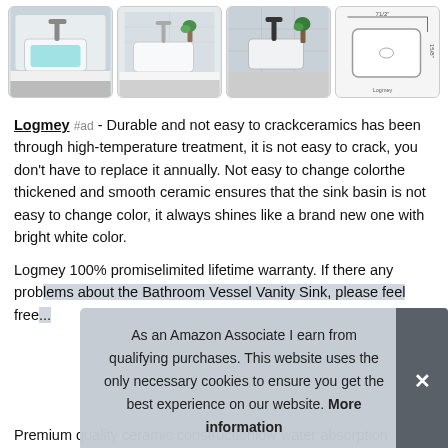[Figure (photo): Four product thumbnail images of a white ceramic rectangular vessel sink shown in different angles and bathroom settings]
Logmey #ad - Durable and not easy to crackceramics has been through high-temperature treatment, it is not easy to crack, you don't have to replace it annually. Not easy to change colorthe thickened and smooth ceramic ensures that the sink basin is not easy to change color, it always shines like a brand new one with bright white color.
Logmey 100% promiselimited lifetime warranty. If there any problems about the Bathroom Vessel Vanity Sink, please feel free...
As an Amazon Associate I earn from qualifying purchases. This website uses the only necessary cookies to ensure you get the best experience on our website. More information
Premium quality ceramic constructionlow water absorption...